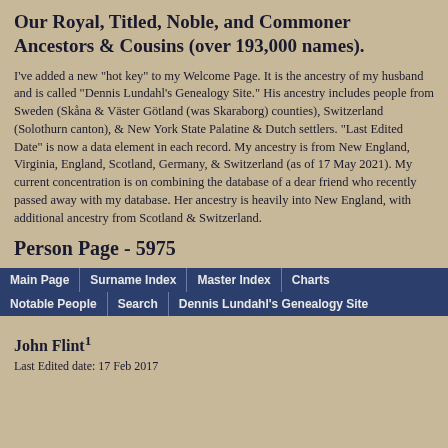Our Royal, Titled, Noble, and Commoner Ancestors & Cousins (over 193,000 names).
I've added a new "hot key" to my Welcome Page. It is the ancestry of my husband and is called "Dennis Lundahl's Genealogy Site." His ancestry includes people from Sweden (Skåna & Väster Götland (was Skaraborg) counties), Switzerland (Solothurn canton), & New York State Palatine & Dutch settlers. "Last Edited Date" is now a data element in each record. My ancestry is from New England, Virginia, England, Scotland, Germany, & Switzerland (as of 17 May 2021). My current concentration is on combining the database of a dear friend who recently passed away with my database. Her ancestry is heavily into New England, with additional ancestry from Scotland & Switzerland.
Person Page - 5975
Main Page | Surname Index | Master Index | Charts | Notable People | Search | Dennis Lundahl's Genealogy Site
John Flint¹
Last Edited date: 17 Feb 2017